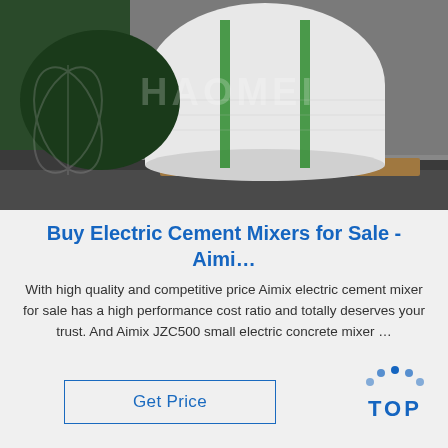[Figure (photo): Industrial photo showing large white cylindrical rolls wrapped in plastic with green straps, stacked on wooden pallets against a dark green background, with a watermark reading 'HAOMEI' across the image.]
Buy Electric Cement Mixers for Sale - Aimi…
With high quality and competitive price Aimix electric cement mixer for sale has a high performance cost ratio and totally deserves your trust. And Aimix JZC500 small electric concrete mixer …
[Figure (logo): TOP logo with blue dots arranged in an arc above the text 'TOP' in blue letters]